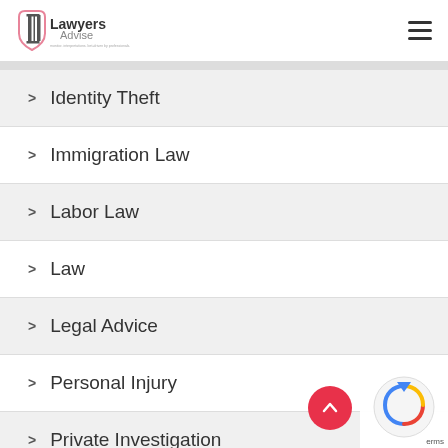Lawyers Advise
Identity Theft
Immigration Law
Labor Law
Law
Legal Advice
Personal Injury
Private Investigation